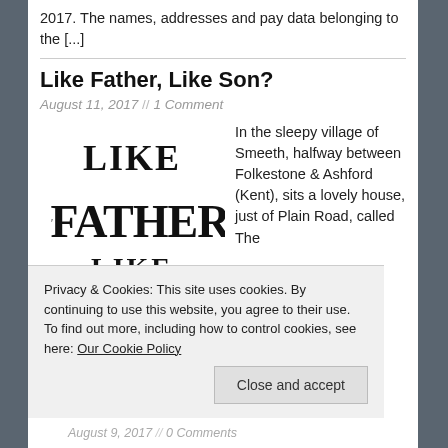2017. The names, addresses and pay data belonging to the [...]
Like Father, Like Son?
August 11, 2017 // 1 Comment
[Figure (illustration): Book or logo image reading LIKE FATHER LIKE SON in large decorative black lettering]
In the sleepy village of Smeeth, halfway between Folkestone & Ashford (Kent), sits a lovely house, just of Plain Road, called The
Privacy & Cookies: This site uses cookies. By continuing to use this website, you agree to their use.
To find out more, including how to control cookies, see here: Our Cookie Policy
Close and accept
August 9, 2017 // 0 Comments